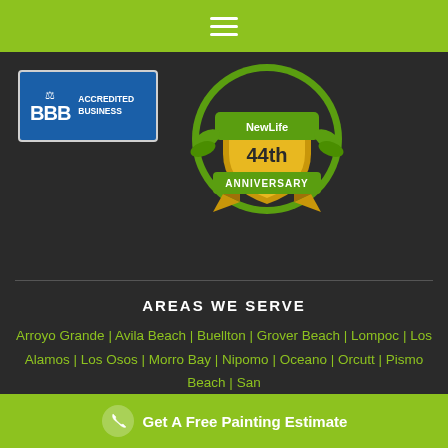[Figure (screenshot): Green navigation bar with hamburger menu icon (three horizontal white lines) centered on lime green background]
[Figure (logo): BBB Accredited Business blue badge with scales of justice icon and text 'BBB ACCREDITED BUSINESS']
[Figure (logo): NewLife Painting 44th Anniversary badge - gold shield with green laurel wreath and text '44th ANNIVERSARY']
AREAS WE SERVE
Arroyo Grande | Avila Beach | Buellton | Grover Beach | Lompoc | Los Alamos | Los Osos | Morro Bay | Nipomo | Oceano | Orcutt | Pismo Beach | San ...
Get A Free Painting Estimate